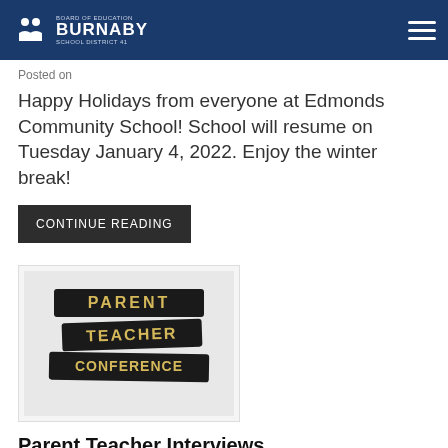Burnaby Board of Education School District 41
Posted on
Happy Holidays from everyone at Edmonds Community School! School will resume on Tuesday January 4, 2022. Enjoy the winter break!
CONTINUE READING
[Figure (photo): Photo of wooden letter tiles spelling out PARENT TEACHER CONFERENCE arranged in rows on a dark background]
Parent Teacher Interviews
Posted on